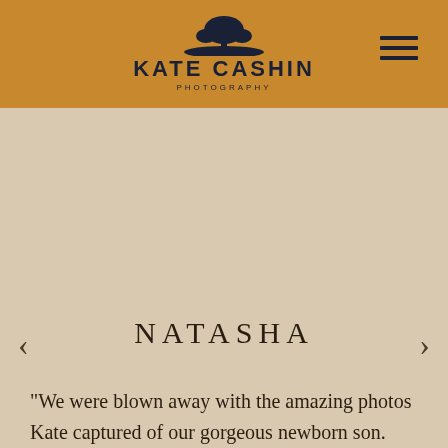[Figure (logo): Kate Cashin Photography logo with tree silhouette above rolling hills, dark navy color on tan/brown background]
NATASHA
"We were blown away with the amazing photos Kate captured of our gorgeous newborn son. The outdoor location was perfect and Kate made everything so